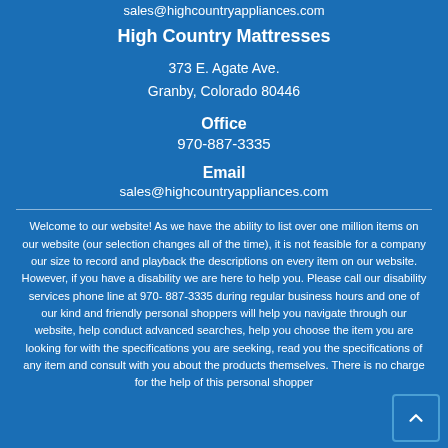sales@highcountryappliances.com
High Country Mattresses
373 E. Agate Ave.
Granby, Colorado 80446
Office
970-887-3335
Email
sales@highcountryappliances.com
Welcome to our website! As we have the ability to list over one million items on our website (our selection changes all of the time), it is not feasible for a company our size to record and playback the descriptions on every item on our website. However, if you have a disability we are here to help you. Please call our disability services phone line at 970-887-3335 during regular business hours and one of our kind and friendly personal shoppers will help you navigate through our website, help conduct advanced searches, help you choose the item you are looking for with the specifications you are seeking, read you the specifications of any item and consult with you about the products themselves. There is no charge for the help of this personal shopper